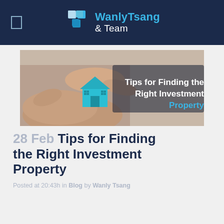WanlyTsang & Team
[Figure (photo): Hands cupping a blue paper house model with text overlay: Tips for Finding the Right Investment Property]
28 Feb Tips for Finding the Right Investment Property
Posted at 20:43h in Blog by Wanly Tsang